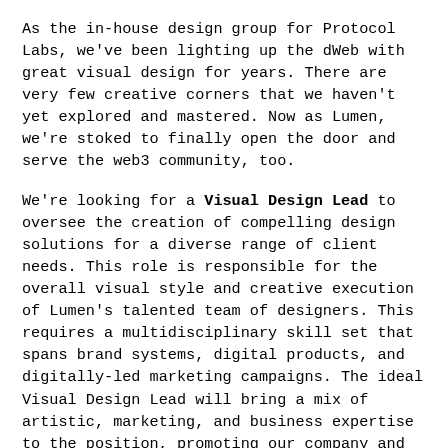As the in-house design group for Protocol Labs, we've been lighting up the dWeb with great visual design for years. There are very few creative corners that we haven't yet explored and mastered. Now as Lumen, we're stoked to finally open the door and serve the web3 community, too.
We're looking for a Visual Design Lead to oversee the creation of compelling design solutions for a diverse range of client needs. This role is responsible for the overall visual style and creative execution of Lumen's talented team of designers. This requires a multidisciplinary skill set that spans brand systems, digital products, and digitally-led marketing campaigns. The ideal Visual Design Lead will bring a mix of artistic, marketing, and business expertise to the position, promoting our company and our valued clients. We're looking for someone very style and trend aware with a passion for graphic design, typography, and photography. This